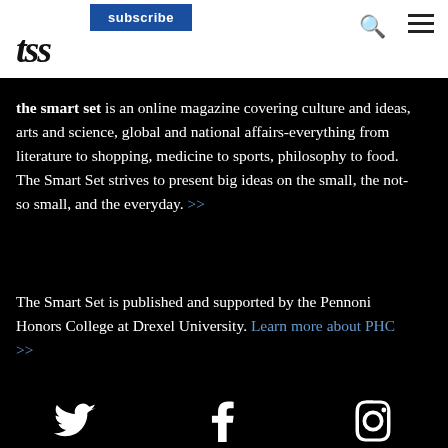subscribe | tss
the smart set is an online magazine covering culture and ideas, arts and science, global and national affairs-everything from literature to shopping, medicine to sports, philosophy to food. The Smart Set strives to present big ideas on the small, the not-so small, and the everyday. >>
The Smart Set is published and supported by the Pennoni Honors College at Drexel University. Learn more about PHC >>
[Figure (other): Social media icons: Twitter bird, Facebook f, Instagram camera]